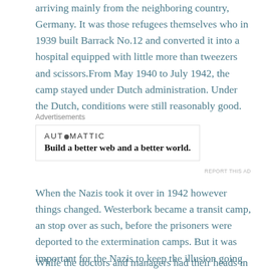arriving mainly from the neighboring country, Germany. It was those refugees themselves who in 1939 built Barrack No.12 and converted it into a hospital equipped with little more than tweezers and scissors.From May 1940 to July 1942, the camp stayed under Dutch administration. Under the Dutch, conditions were still reasonably good.
[Figure (other): Advertisement block: Automattic logo with tagline 'Build a better web and a better world.' with 'REPORT THIS AD' link]
When the Nazis took it over in 1942 however things changed. Westerbork became a transit camp, an stop over as such, before the prisoners were deported to the extermination camps. But it was important for the Nazis to keep the illusion going that things were still fairly normal. Therefor the Hospital played an important role.
While the doctors and managers had their heads in the